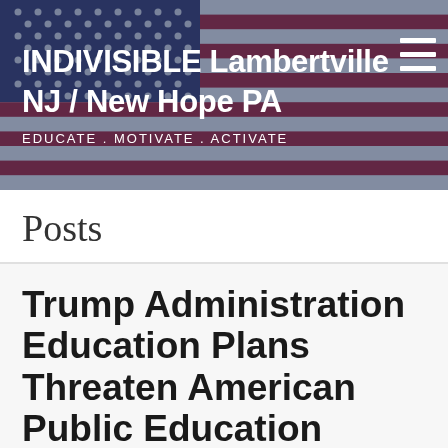[Figure (illustration): Header banner with American flag background, partially overlaid with a dark blue tint. Contains the site title 'INDIVISIBLE Lambertville NJ / New Hope PA' and tagline 'EDUCATE . MOTIVATE . ACTIVATE', with a hamburger menu icon in the top right.]
Posts
Trump Administration Education Plans Threaten American Public Education